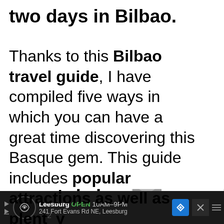two days in Bilbao.
Thanks to this Bilbao travel guide, I have compiled five ways in which you can have a great time discovering this Basque gem. This guide includes popular attractions as well as plenty of suggestions on where to eat since Bilbao too has a few culinary gems up its sleeves, despite San Sebastian
[Figure (screenshot): UI overlay: teal heart button, share count of 2, and share icon on right side of page]
[Figure (screenshot): What's Next card showing thumbnail image and text: WHAT'S NEXT → Three days in Madrid: The...]
[Figure (screenshot): Advertisement bar at bottom: Leesburg OPEN 10AM-9PM, 241 Fort Evans Rd NE, Leesburg with navigation icon and close button]